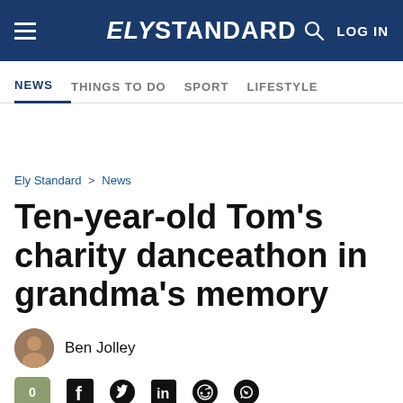ELY STANDARD — LOG IN
NEWS | THINGS TO DO | SPORT | LIFESTYLE
Ely Standard > News
Ten-year-old Tom's charity danceathon in grandma's memory
Ben Jolley